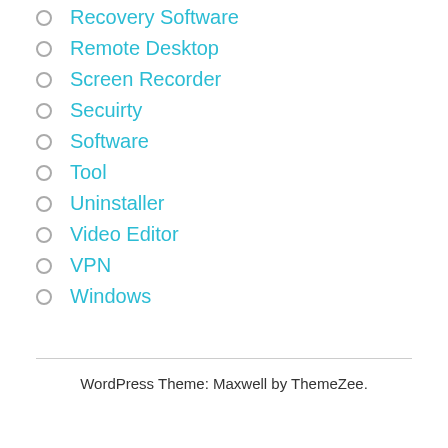Recovery Software
Remote Desktop
Screen Recorder
Secuirty
Software
Tool
Uninstaller
Video Editor
VPN
Windows
WordPress Theme: Maxwell by ThemeZee.